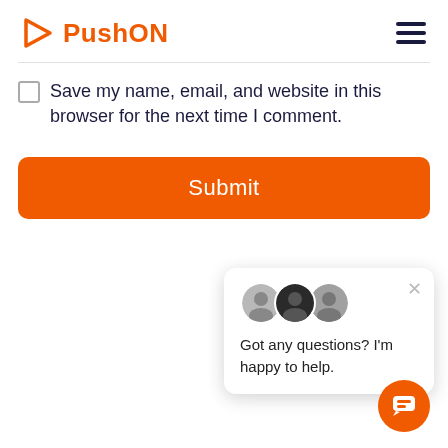[Figure (logo): PushON logo with orange play button triangle icon and orange bold text 'PushON']
[Figure (other): Hamburger menu icon (three dark navy horizontal lines)]
Save my name, email, and website in this browser for the next time I comment.
[Figure (other): Submit button — orange rounded rectangle with white 'Submit' text]
[Figure (other): Chat popup widget showing three circular avatar photos, an X close button, and text 'Got any questions? I'm happy to help.']
[Figure (other): Orange circular chat FAB button with white chat bubble icon]